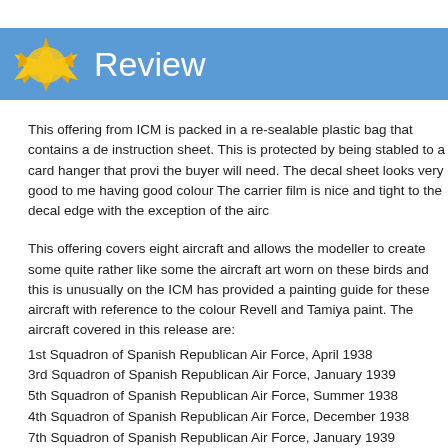Review
This offering from ICM is packed in a re-sealable plastic bag that contains a de instruction sheet. This is protected by being stabled to a card hanger that provi the buyer will need. The decal sheet looks very good to me having good colour The carrier film is nice and tight to the decal edge with the exception of the airc
This offering covers eight aircraft and allows the modeller to create some quite rather like some the aircraft art worn on these birds and this is unusually on the ICM has provided a painting guide for these aircraft with reference to the colour Revell and Tamiya paint. The aircraft covered in this release are:
1st Squadron of Spanish Republican Air Force, April 1938
3rd Squadron of Spanish Republican Air Force, January 1939
5th Squadron of Spanish Republican Air Force, Summer 1938
4th Squadron of Spanish Republican Air Force, December 1938
7th Squadron of Spanish Republican Air Force, January 1939
3rd Squadron of Spanish Republican Air Force, November 1938
6th Squadron of Spanish Republican Air Force, Autumn 1938
4th Squadron of Spanish Republican Air Force, January 1939